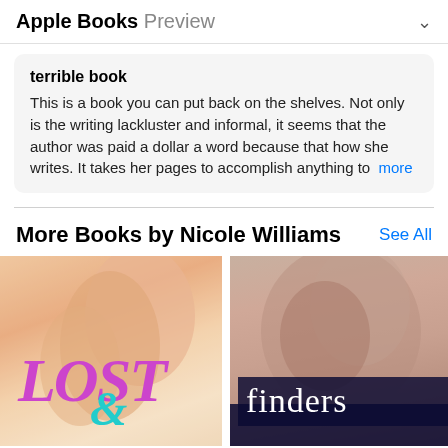Apple Books Preview
terrible book
This is a book you can put back on the shelves. Not only is the writing lackluster and informal, it seems that the author was paid a dollar a word because that how she writes. It takes her pages to accomplish anything to more
More Books by Nicole Williams
[Figure (photo): Two book covers side by side: 'Lost &' by Nicole Williams (pink/teal text on warm background with female figure) and 'finders' by Nicole Williams (romantic couple on cover with dark title bar), plus partial third book cover.]